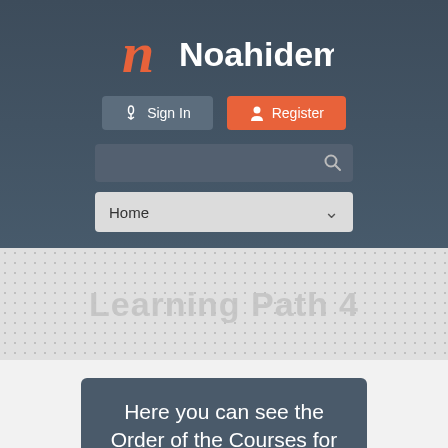[Figure (logo): Noahidemy logo with stylized italic 'n' in orange-red and 'Noahidemy' in white bold text]
[Figure (screenshot): Sign In and Register buttons in navigation bar]
[Figure (screenshot): Search input box with magnifying glass icon]
[Figure (screenshot): Navigation dropdown showing 'Home' with chevron]
Learning Path 4
Here you can see the Order of the Courses for